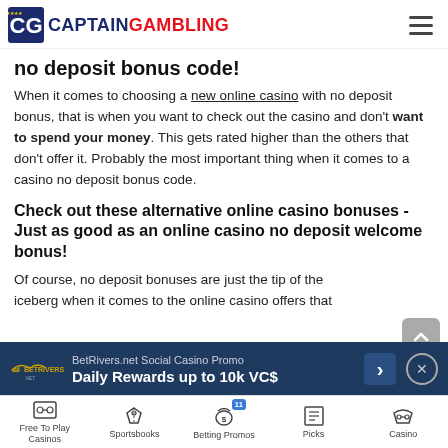CaptainGambling
no deposit bonus code!
When it comes to choosing a new online casino with no deposit bonus, that is when you want to check out the casino and don't want to spend your money. This gets rated higher than the others that don't offer it. Probably the most important thing when it comes to a casino no deposit bonus code.
Check out these alternative online casino bonuses - Just as good as an online casino no deposit welcome bonus!
Of course, no deposit bonuses are just the tip of the iceberg when it comes to the online casino offers that
[Figure (infographic): BetRivers.net Social Casino Promo ad banner: Daily Rewards up to 10k VC$]
Free To Play Casinos | Sportsbooks | Betting Promos (11) | Picks | Casino